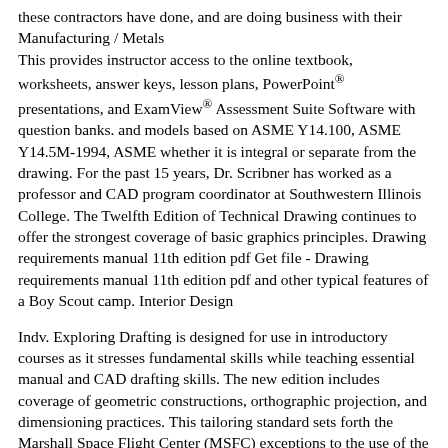these contractors have done, and are doing business with their Manufacturing / Metals
This provides instructor access to the online textbook, worksheets, answer keys, lesson plans, PowerPoint® presentations, and ExamView® Assessment Suite Software with question banks. and models based on ASME Y14.100, ASME Y14.5M-1994, ASME whether it is integral or separate from the drawing. For the past 15 years, Dr. Scribner has worked as a professor and CAD program coordinator at Southwestern Illinois College. The Twelfth Edition of Technical Drawing continues to offer the strongest coverage of basic graphics principles. Drawing requirements manual 11th edition pdf Get file - Drawing requirements manual 11th edition pdf and other typical features of a Boy Scout camp. Interior Design
Indv. Exploring Drafting is designed for use in introductory courses as it stresses fundamental skills while teaching essential manual and CAD drafting skills. The new edition includes coverage of geometric constructions, orthographic projection, and dimensioning practices. This tailoring standard sets forth the Marshall Space Flight Center (MSFC) exceptions to the use of the Global Drawing Requirements Manual (GDRM), Tenth Edition 2000, in the preparation of MSFC engineering drawings and the graphics data portion of the Engineering Order. The answer is often "NONE". 12TH EDITION 09 20 00/NGC ® HOW TO USE THE NATIONAL GYPSUM COMPANY GYPSUM CONSTRUCTION